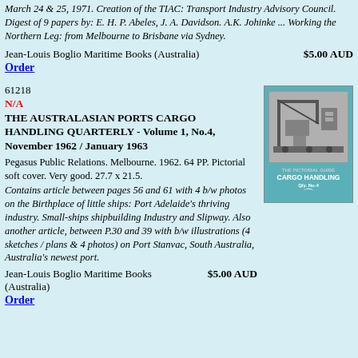March 24 & 25, 1971. Creation of the TIAC: Transport Industry Advisory Council. Digest of 9 papers by: E. H. P. Abeles, J. A. Davidson. A.K. Johinke ... Working the Northern Leg: from Melbourne to Brisbane via Sydney.
Jean-Louis Boglio Maritime Books (Australia)    $5.00 AUD
Order
61218
N/A
THE AUSTRALASIAN PORTS CARGO HANDLING QUARTERLY - Volume 1, No.4, November 1962 / January 1963
[Figure (photo): Book cover of The Australasian Ports Cargo Handling Quarterly, teal/blue cover with a black and white photograph of cargo handling equipment and the text CARGO HANDLING on the cover.]
Pegasus Public Relations. Melbourne. 1962. 64 PP. Pictorial soft cover. Very good. 27.7 x 21.5.
Contains article between pages 56 and 61 with 4 b/w photos on the Birthplace of little ships: Port Adelaide's thriving industry. Small-ships shipbuilding Industry and Slipway. Also another article, between P.30 and 39 with b/w illustrations (4 sketches / plans & 4 photos) on Port Stanvac, South Australia, Australia's newest port.
Jean-Louis Boglio Maritime Books (Australia)    $5.00 AUD
Order